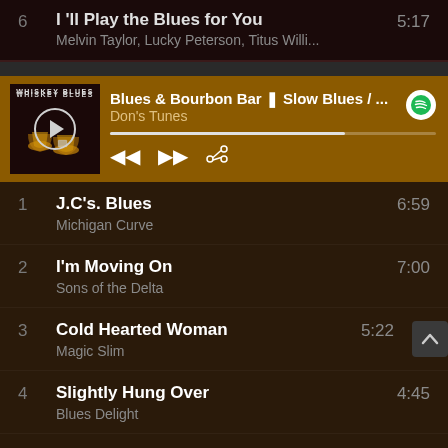6  I'll Play the Blues for You  5:17
Melvin Taylor, Lucky Peterson, Titus Willi...
[Figure (screenshot): Music player widget showing Blues & Bourbon Bar album with whiskey glasses image, Spotify logo, playback controls, and progress bar. Playlist Don's Tunes.]
1  J.C's. Blues  6:59
Michigan Curve
2  I'm Moving On  7:00
Sons of the Delta
3  Cold Hearted Woman  5:22
Magic Slim
4  Slightly Hung Over  4:45
Blues Delight
5  Blues In My Bottle  4:11
Christian Willisohn
6  Lonesome In My Bedroom  6:05